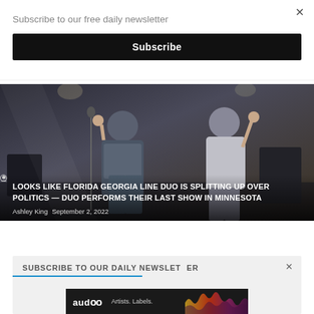Subscribe to our free daily newsletter
Subscribe
[Figure (photo): Concert photo of Florida Georgia Line duo performing on stage, two performers visible, dark background with stage equipment]
LOOKS LIKE FLORIDA GEORGIA LINE DUO IS SPLITTING UP OVER POLITICS — DUO PERFORMS THEIR LAST SHOW IN MINNESOTA
Ashley King  September 2, 2022
SUBSCRIBE TO OUR DAILY NEWSLETTER
[Figure (logo): Audoo logo with tagline 'Artists. Labels.' on dark background with colorful sound wave graphic]